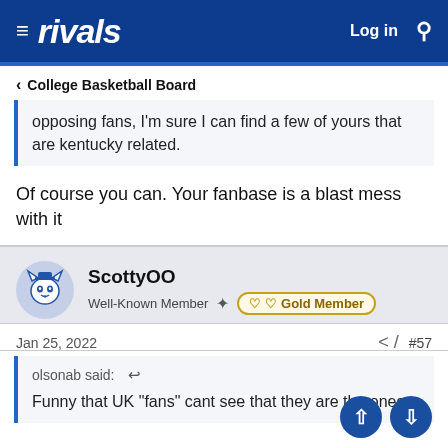rivals — Log in [search]
< College Basketball Board
opposing fans, I'm sure I can find a few of yours that are kentucky related.
Of course you can. Your fanbase is a blast mess with it
ScottyOO
Well-Known Member · Gold Member
Jan 25, 2022  #57
olsonab said:
Funny that UK "fans" cant see that they are the ones